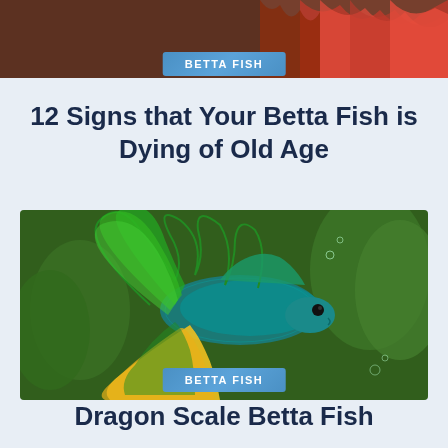[Figure (photo): Partial view of a colorful red betta fish from above, cropped at top of page]
BETTA FISH
12 Signs that Your Betta Fish is Dying of Old Age
[Figure (photo): A vibrant green and yellow dragon scale betta fish swimming in an aquarium with green plant background]
BETTA FISH
Dragon Scale Betta Fish